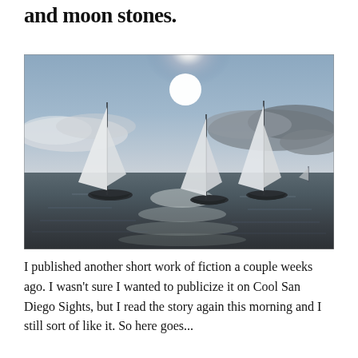and moon stones.
[Figure (photo): Black and white photograph of three sailboats on open water with bright sun and dramatic clouds in the background, reflections shimmering on the water.]
I published another short work of fiction a couple weeks ago. I wasn't sure I wanted to publicize it on Cool San Diego Sights, but I read the story again this morning and I still sort of like it. So here goes...